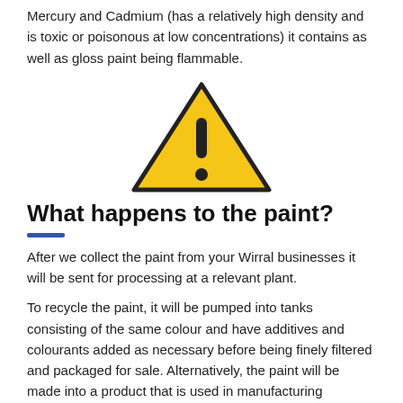Mercury and Cadmium (has a relatively high density and is toxic or poisonous at low concentrations) it contains as well as gloss paint being flammable.
[Figure (illustration): Warning triangle sign — yellow triangle with black border and black exclamation mark inside.]
What happens to the paint?
After we collect the paint from your Wirral businesses it will be sent for processing at a relevant plant.
To recycle the paint, it will be pumped into tanks consisting of the same colour and have additives and colourants added as necessary before being finely filtered and packaged for sale. Alternatively, the paint will be made into a product that is used in manufacturing concepts that absorbs 100% of the original paint.